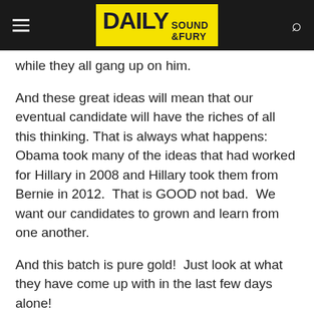Daily Sound & Fury
while they all gang up on him.
And these great ideas will mean that our eventual candidate will have the riches of all this thinking. That is always what happens: Obama took many of the ideas that had worked for Hillary in 2008 and Hillary took them from Bernie in 2012.  That is GOOD not bad.  We want our candidates to grown and learn from one another.
And this batch is pure gold!  Just look at what they have come up with in the last few days alone!
White nationalists could have firearms taken under red flag law proposed by Kamala Harris